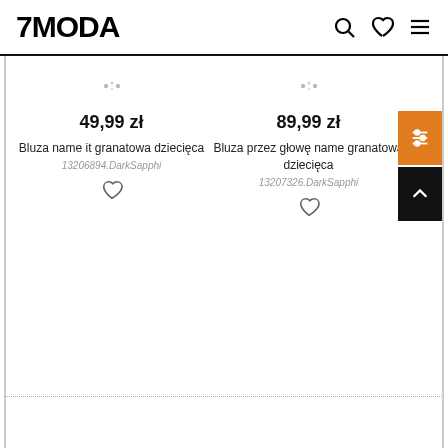7MODA
[Figure (other): Product card: price 49,99 zł, name Bluza name it granatowa dziecięca, SKU 13206894.DarkSapphi]
[Figure (other): Product card: price 89,99 zł, name Bluza przez głowę name granatowa dziecięca, SKU 13207326.DarkSapphi]